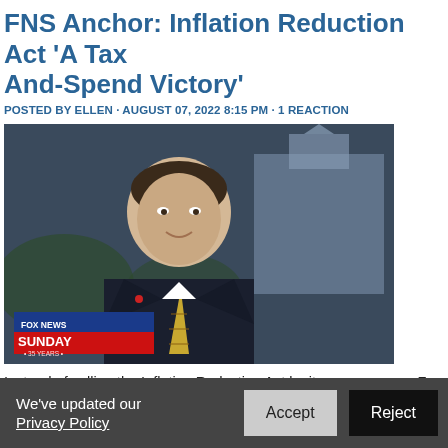FNS Anchor: Inflation Reduction Act 'A Tax And-Spend Victory'
POSTED BY ELLEN · AUGUST 07, 2022 8:15 PM · 1 REACTION
[Figure (photo): Fox News Sunday anchor Mike Emanuel speaking on camera in front of US Capitol building, with Fox News Sunday 35 Years lower-third graphic]
Instead of calling the Inflation Reduction Act by its proper name, Fox 'journalist' Mike Emanuel regurgitated GOP talking points and designa...
We've updated our Privacy Policy  [Accept] [Reject]